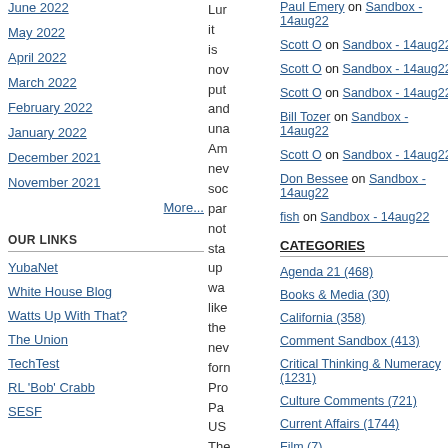June 2022
May 2022
April 2022
March 2022
February 2022
January 2022
December 2021
November 2021
More...
OUR LINKS
YubaNet
White House Blog
Watts Up With That?
The Union
TechTest
RL 'Bob' Crabb
SESF
Lur it is nov put and una Am nev soc par not sta up wa like the nev forn Pro Pa US The
Paul Emery on Sandbox - 14aug22
Scott O on Sandbox - 14aug22
Scott O on Sandbox - 14aug22
Scott O on Sandbox - 14aug22
Bill Tozer on Sandbox - 14aug22
Scott O on Sandbox - 14aug22
Don Bessee on Sandbox - 14aug22
fish on Sandbox - 14aug22
CATEGORIES
Agenda 21 (468)
Books & Media (30)
California (358)
Comment Sandbox (413)
Critical Thinking & Numeracy (1231)
Culture Comments (721)
Current Affairs (1744)
Film (7)
Food and Drink (8)